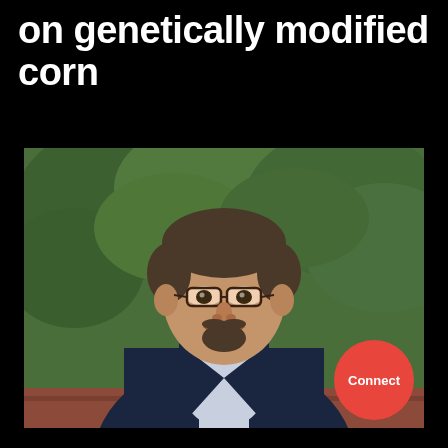on genetically modified corn
[Figure (photo): Portrait photo of a middle-aged man with glasses and a goatee, wearing a dark navy blazer and light blue dress shirt, smiling, with green foliage in the background.]